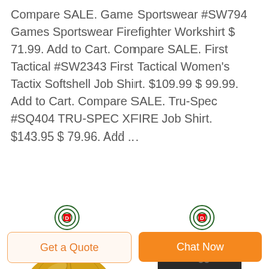Compare SALE. Game Sportswear #SW794 Games Sportswear Firefighter Workshirt $ 71.99. Add to Cart. Compare SALE. First Tactical #SW2343 First Tactical Women's Tactix Softshell Job Shirt. $109.99 $ 99.99. Add to Cart. Compare SALE. Tru-Spec #SQ404 TRU-SPEC XFIRE Job Shirt. $143.95 $ 79.96. Add ...
[Figure (logo): DEEKON logo with target icon (left product)]
[Figure (photo): Yellow baseball cap product image]
[Figure (logo): DEEKON logo with target icon (right product)]
[Figure (photo): Black laptop/messenger bag product image]